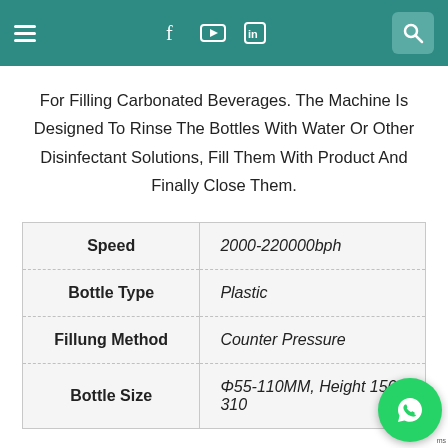Menu | f | YouTube | in | Search
For Filling Carbonated Beverages. The Machine Is Designed To Rinse The Bottles With Water Or Other Disinfectant Solutions, Fill Them With Product And Finally Close Them.
|  |  |
| --- | --- |
| Speed | 2000-220000bph |
| Bottle Type | Plastic |
| Fillung Method | Counter Pressure |
| Bottle Size | Φ55-110MM, Height 150-310 |